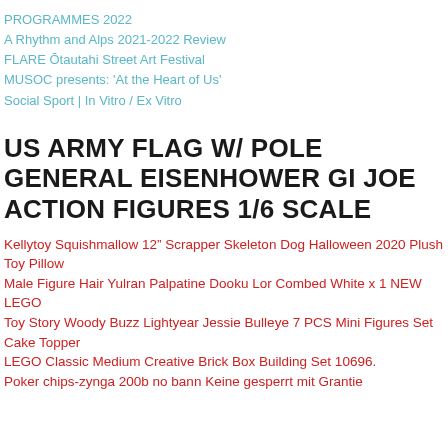PROGRAMMES 2022
A Rhythm and Alps 2021-2022 Review
FLARE Ōtautahi Street Art Festival
MUSOC presents: 'At the Heart of Us'
Social Sport | In Vitro / Ex Vitro
US ARMY FLAG W/ POLE GENERAL EISENHOWER GI JOE ACTION FIGURES 1/6 SCALE
Kellytoy Squishmallow 12" Scrapper Skeleton Dog Halloween 2020 Plush Toy Pillow
Male Figure Hair Yulran Palpatine Dooku Lor Combed White x 1 NEW LEGO
Toy Story Woody Buzz Lightyear Jessie Bulleye 7 PCS Mini Figures Set Cake Topper
LEGO Classic Medium Creative Brick Box Building Set 10696.
Poker chips-zynga 200b no bann Keine gesperrt mit Grantie